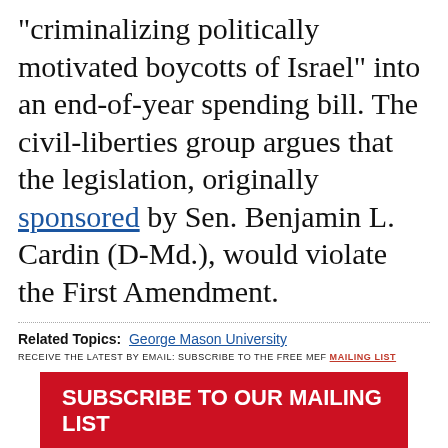"criminalizing politically motivated boycotts of Israel" into an end-of-year spending bill. The civil-liberties group argues that the legislation, originally sponsored by Sen. Benjamin L. Cardin (D-Md.), would violate the First Amendment.
Related Topics: George Mason University
RECEIVE THE LATEST BY EMAIL: SUBSCRIBE TO THE FREE MEF MAILING LIST
SUBSCRIBE TO OUR MAILING LIST
Type your email here... Submit
LATEST ARTICLES
Prof's Claim That Rushdie Attacker